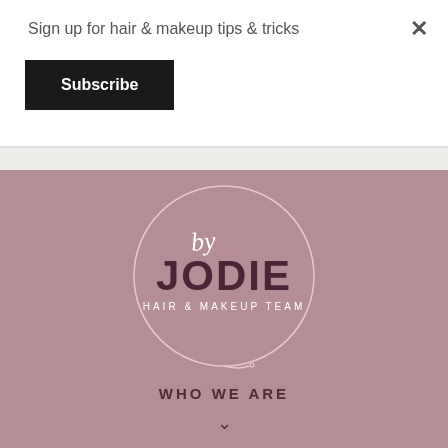Sign up for hair & makeup tips & tricks
Subscribe
[Figure (logo): by Jodie Hair & Makeup Team circular logo with script 'by' and bold 'JODIE' text on dusty rose background]
WHO WE ARE